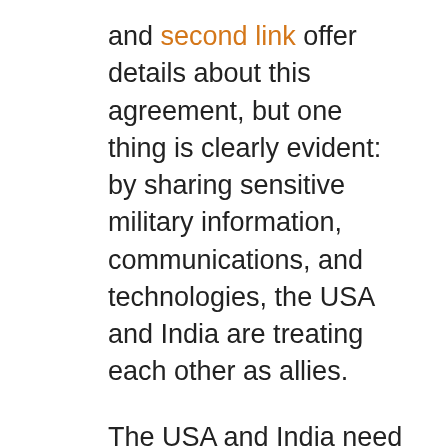and second link offer details about this agreement, but one thing is clearly evident: by sharing sensitive military information, communications, and technologies, the USA and India are treating each other as allies.
The USA and India need each other. Hemmed in by two nuclear-armed enemies, China and Pakistan, which are allied to each other vs. India, India needs a strong alliance with another nuclear power that has conventional military power as well. The USA fits India's needs very well. Given China's rapid